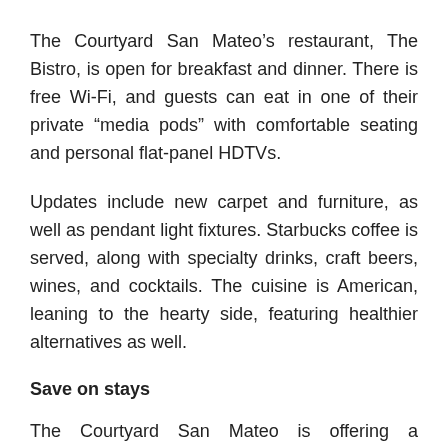The Courtyard San Mateo’s restaurant, The Bistro, is open for breakfast and dinner. There is free Wi-Fi, and guests can eat in one of their private “media pods” with comfortable seating and personal flat-panel HDTVs.
Updates include new carpet and furniture, as well as pendant light fixtures. Starbucks coffee is served, along with specialty drinks, craft beers, wines, and cocktails. The cuisine is American, leaning to the hearty side, featuring healthier alternatives as well.
Save on stays
The Courtyard San Mateo is offering a “renovation deal” that gives guests a discount on stays through the end of 2016.
Marriott Rewards members can always earn points by staying at the hotel, and holders of a Marriott Rewards credit card earn